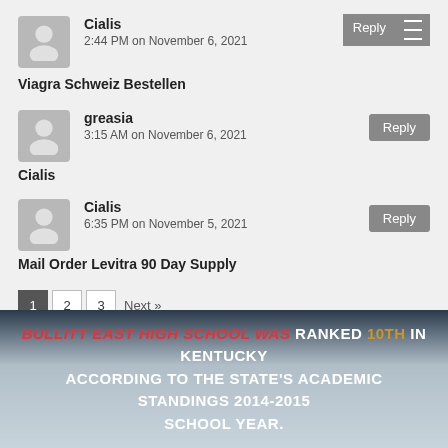Cialis
2:44 PM on November 6, 2021
Viagra Schweiz Bestellen
greasia
3:15 AM on November 6, 2021
Cialis
Cialis
6:35 PM on November 5, 2021
Mail Order Levitra 90 Day Supply
1  2  3  Next »
BULLITT EAST HIGH SCHOOL WAS RANKED 10TH IN KENTUCKY ACCORDING TO THE STATE'S ACADEMIC STANDINGS 2014-2015 SCHOOL YEAR.